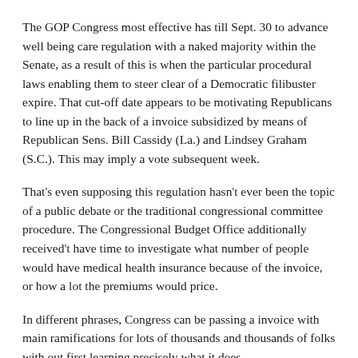The GOP Congress most effective has till Sept. 30 to advance well being care regulation with a naked majority within the Senate, as a result of this is when the particular procedural laws enabling them to steer clear of a Democratic filibuster expire. That cut-off date appears to be motivating Republicans to line up in the back of a invoice subsidized by means of Republican Sens. Bill Cassidy (La.) and Lindsey Graham (S.C.). This may imply a vote subsequent week.
That's even supposing this regulation hasn't ever been the topic of a public debate or the traditional congressional committee procedure. The Congressional Budget Office additionally received't have time to investigate what number of people would have medical health insurance because of the invoice, or how a lot the premiums would price.
In different phrases, Congress can be passing a invoice with main ramifications for lots of thousands and thousands of folks with out first learning precisely what it does.
And since the Senate has bizarre laws, the Cassidy-Graham regulation may move immediately to a vote after simply two n  r discussion and debate. You stare given that the one context...